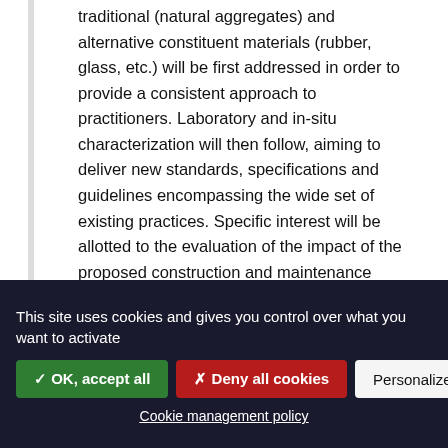traditional (natural aggregates) and alternative constituent materials (rubber, glass, etc.) will be first addressed in order to provide a consistent approach to practitioners. Laboratory and in-situ characterization will then follow, aiming to deliver new standards, specifications and guidelines encompassing the wide set of existing practices. Specific interest will be allotted to the evaluation of the impact of the proposed construction and maintenance methodologies on the pavement life, both in terms of structural and functional aspects. Ties with TG1 will mainly focus on binder-aggregate affinity as one of the most important topics related to the layer durability.
This site uses cookies and gives you control over what you want to activate
✓ OK, accept all
✗ Deny all cookies
Personalize
Cookie management policy